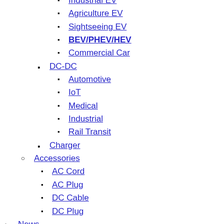Industrial EV
Agriculture EV
Sightseeing EV
BEV/PHEV/HEV
Commercial Car
DC-DC
Automotive
IoT
Medical
Industrial
Rail Transit
Charger
Accessories
AC Cord
AC Plug
DC Cable
DC Plug
News
Latest News
New Products
Events
Supports & Downloads
FAQs
Download Center
Sales Information